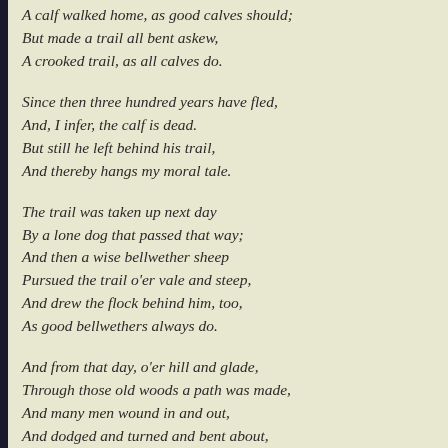A calf walked home, as good calves should;
But made a trail all bent askew,
A crooked trail, as all calves do.
Since then three hundred years have fled,
And, I infer, the calf is dead.
But still he left behind his trail,
And thereby hangs my moral tale.
The trail was taken up next day
By a lone dog that passed that way;
And then a wise bellwether sheep
Pursued the trail o'er vale and steep,
And drew the flock behind him, too,
As good bellwethers always do.
And from that day, o'er hill and glade,
Through those old woods a path was made,
And many men wound in and out,
And dodged and turned and bent about,
And uttered words of righteous wrath
Because 'twas such a crooked path;
But still they followed — do not laugh —
The first migrations of that calf.